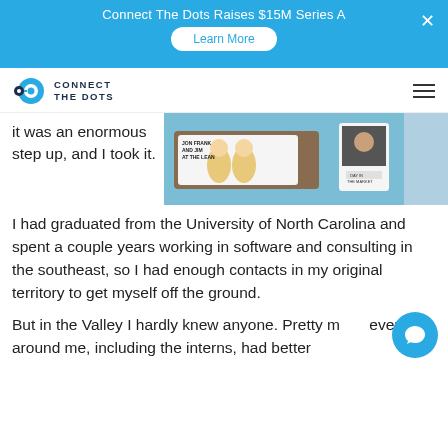Connect The Dots Raises $15M Series A
[Figure (logo): Connect The Dots logo with circular icon and text 'CONNECT THE DOTS']
[Figure (photo): Photo of bobblehead figurines with text 'John Frank and Jim at the Lean' on a wooden background, and a small portrait badge photo]
it was an enormous step up, and I took it.
I had graduated from the University of North Carolina and spent a couple years working in software and consulting in the southeast, so I had enough contacts in my original territory to get myself off the ground.
But in the Valley I hardly knew anyone. Pretty much everyone around me, including the interns, had better